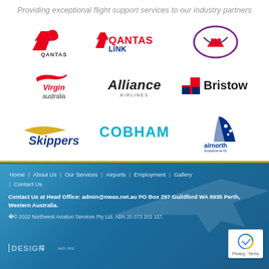Providing exceptional flight support services to our industry partners
[Figure (logo): Qantas logo - red kangaroo silhouette with QANTAS text]
[Figure (logo): QantasLink logo - red kangaroo with QANTASLINK text]
[Figure (logo): MacAir / Network Aviation logo - stylized red m in oval]
[Figure (logo): Virgin Australia logo - swoosh with 'Virgin australia' text]
[Figure (logo): Alliance Airlines logo - italic Alliance Airlines text]
[Figure (logo): Bristow logo - Bristow text with cross/flag emblem]
[Figure (logo): Skippers Aviation logo - Skippers text with swoosh]
[Figure (logo): Cobham Aviation logo - COBHAM text in cyan]
[Figure (logo): Airnorth logo - blue tail fin with stars]
Home | About Us | Our Services | Airports | Employment | Gallery | Contact Us
Contact Us at Head Office: admin@nwas.net.au PO Box 297 Guildford WA 6935 Perth, Western Australia.
© 2022 Northwest Aviation Services Pty Ltd. ABN 20 073 203 157.